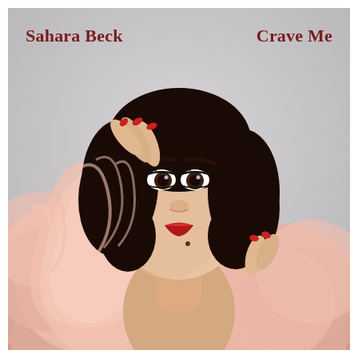[Figure (photo): Music single cover art for 'Crave Me' by Sahara Beck. A young woman with dark bob hair and red lipstick peers over a fluffy pink feather boa or fur stole, with both hands raised near her face, red fingernails visible. Background is a pale grey-blue studio backdrop.]
Sahara Beck
Crave Me